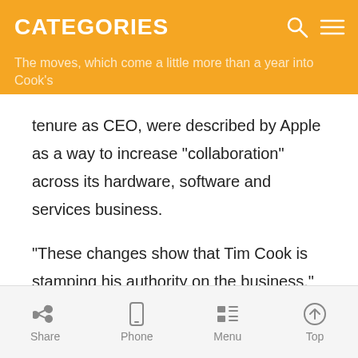CATEGORIES
The moves, which come a little more than a year into Cook's tenure as CEO, were described by Apple as a way to increase "collaboration" across its hardware, software and services business.
"These changes show that Tim Cook is stamping his authority on the business," Ben Wood, analyst with CCS Insight, said. "Perhaps disappointed with the Maps issues, Forstall became the scapegoat."
Critics of the maps debacle, which led Cook to apologize to customers, had been calling for Forstall's head. "Does Apple
Share  Phone  Menu  Top